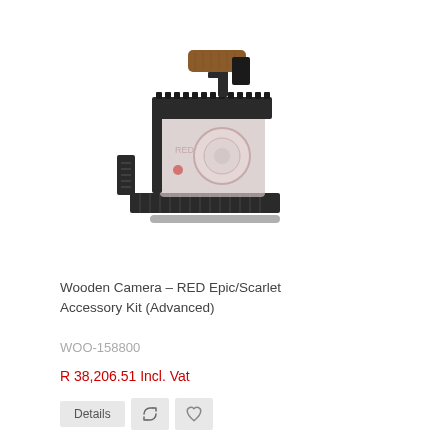[Figure (photo): Wooden Camera RED Epic/Scarlet Accessory Kit (Advanced) — camera rig with top handle, cage, baseplate, and two rods]
Wooden Camera – RED Epic/Scarlet Accessory Kit (Advanced)
WOO-158800
R 38,206.51 Incl. Vat
Details